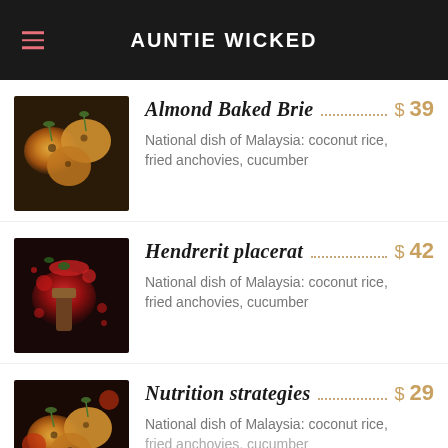AUNTIE WICKED
Almond Baked Brie
$ 39
National dish of Malaysia: coconut rice, fried anchovies, cucumber
Hendrerit placerat
$ 42
National dish of Malaysia: coconut rice, fried anchovies, cucumber
Nutrition strategies
$ 29
National dish of Malaysia: coconut rice,